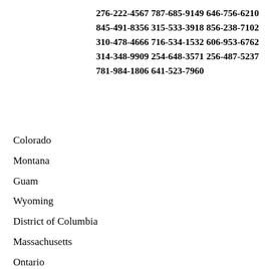276-222-4567 787-685-9149 646-756-6210 845-491-8356 315-533-3918 856-238-7102 310-478-4666 716-534-1532 606-953-6762 314-348-9909 254-648-3571 256-487-5237 781-984-1806 641-523-7960
Colorado
Montana
Guam
Wyoming
District of Columbia
Massachusetts
Ontario
District of Columbia